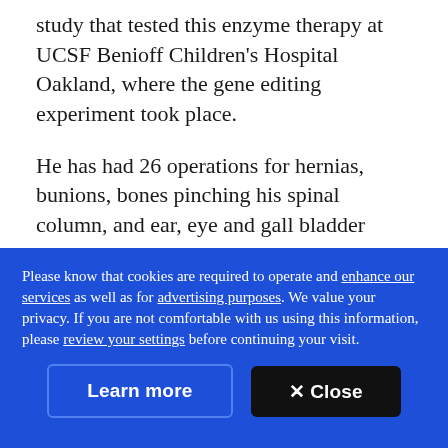study that tested this enzyme therapy at UCSF Benioff Children's Hospital Oakland, where the gene editing experiment took place.
He has had 26 operations for hernias, bunions, bones pinching his spinal column, and ear, eye and gall bladder problems.
"It seems like I had a surgery every other year of my life" and many procedures in between, he said. Last
Please know that cookies are required to operate and enhance our services as well as for advertising purposes. We value your privacy. If you are not comfortable with us using this information, please review your settings before continuing your visit.
Learn more
✕ Close